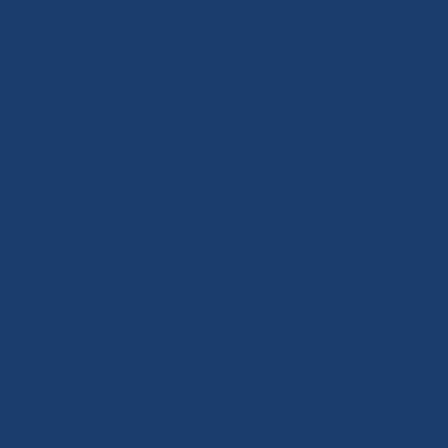e m o n the ri g ht (t hi s is in th e U. S. ) a n d fo rc e d th e m to